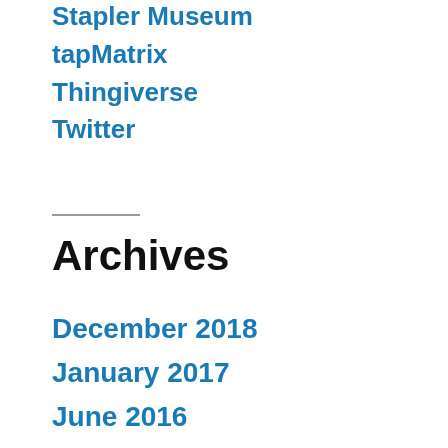Stapler Museum
tapMatrix
Thingiverse
Twitter
Archives
December 2018
January 2017
June 2016
October 2012